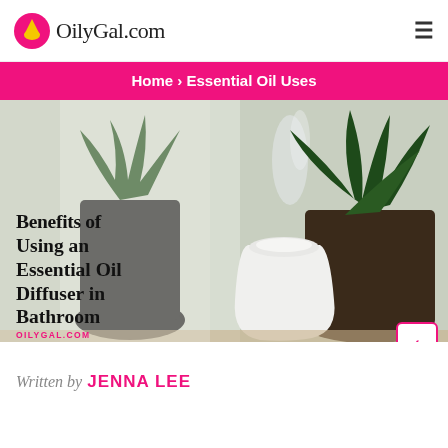OilyGal.com
Home › Essential Oil Uses
[Figure (photo): Photo of a white essential oil diffuser placed in front of potted plants (snake plant and cactus), emitting mist. Overlaid text reads 'Benefits of Using an Essential Oil Diffuser in Bathroom' and 'OILYGAL.COM'.]
Benefits of Using an Essential Oil Diffuser in Bathroom
Written by JENNA LEE